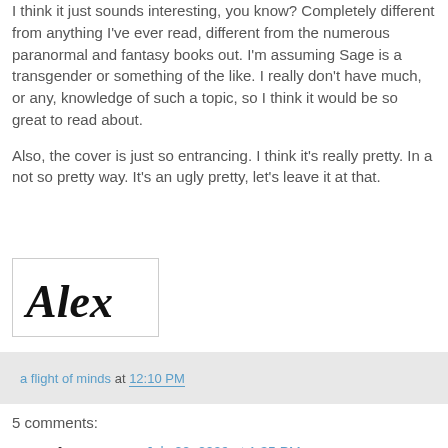I think it just sounds interesting, you know? Completely different from anything I've ever read, different from the numerous paranormal and fantasy books out. I'm assuming Sage is a transgender or something of the like. I really don't have much, or any, knowledge of such a topic, so I think it would be so great to read about.
Also, the cover is just so entrancing. I think it's really pretty. In a not so pretty way. It's an ugly pretty, let's leave it at that.
[Figure (illustration): Handwritten cursive signature reading 'Alex' in black ink on white background, inside a light grey bordered box]
a flight of minds at 12:10 PM
5 comments:
Anonymous  July 22, 2009 at 1:35 PM
This sounds interesting and out of the ordinary.